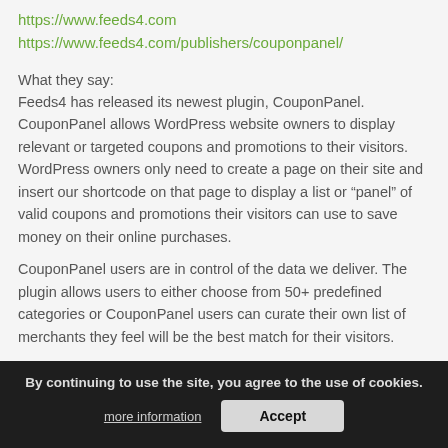https://www.feeds4.com
https://www.feeds4.com/publishers/couponpanel/
What they say:
Feeds4 has released its newest plugin, CouponPanel. CouponPanel allows WordPress website owners to display relevant or targeted coupons and promotions to their visitors. WordPress owners only need to create a page on their site and insert our shortcode on that page to display a list or “panel” of valid coupons and promotions their visitors can use to save money on their online purchases.
CouponPanel users are in control of the data we deliver. The plugin allows users to either choose from 50+ predefined categories or CouponPanel users can curate their own list of merchants they feel will be the best match for their visitors.
Five things that make CouponPanel a great choice for any WordPress owner to install:
Content. Feeds4 manages the content. This means once the plugin is activated and the shortcode is entered, Feeds4 keeps the promotional content current via APIs. For
By continuing to use the site, you agree to the use of cookies.
more information
Accept